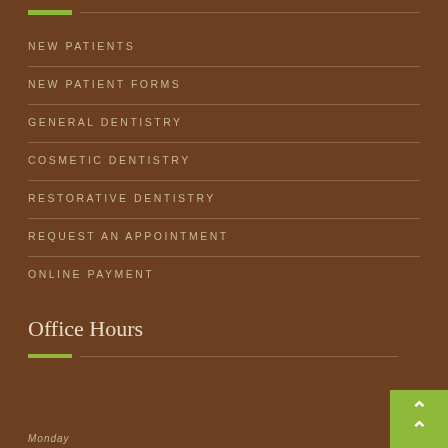NEW PATIENTS
NEW PATIENT FORMS
GENERAL DENTISTRY
COSMETIC DENTISTRY
RESTORATIVE DENTISTRY
REQUEST AN APPOINTMENT
ONLINE PAYMENT
Office Hours
Monday